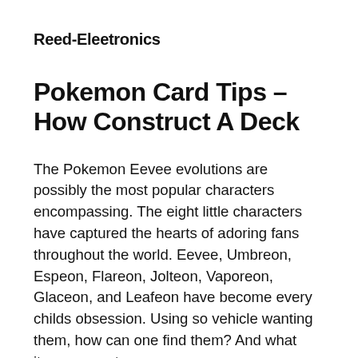Reed-Eleetronics
Pokemon Card Tips – How Construct A Deck
The Pokemon Eevee evolutions are possibly the most popular characters encompassing. The eight little characters have captured the hearts of adoring fans throughout the world. Eevee, Umbreon, Espeon, Flareon, Jolteon, Vaporeon, Glaceon, and Leafeon have become every childs obsession. Using so vehicle wanting them, how can one find them? And what items are out